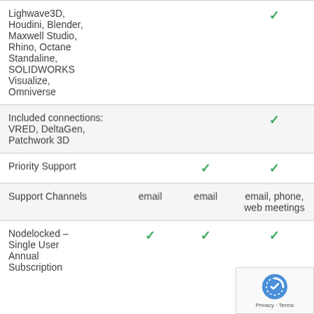| Feature | Col2 | Col3 | Col4 |
| --- | --- | --- | --- |
| Lighwave3D, Houdini, Blender, Maxwell Studio, Rhino, Octane Standaline, SOLIDWORKS Visualize, Omniverse |  |  | ✓ |
| Included connections: VRED, DeltaGen, Patchwork 3D |  |  | ✓ |
| Priority Support |  | ✓ | ✓ |
| Support Channels | email | email | email, phone, web meetings |
| Nodelocked – Single User Annual Subscription | ✓ | ✓ | ✓ |